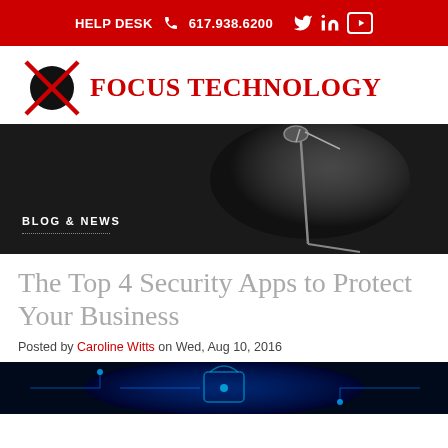HELP DESK 617.938.6200
[Figure (logo): Focus Technology logo with X-circle icon and red text FOCUS TECHNOLOGY]
[Figure (photo): Dark moody photo of a microphone stand on stage with dramatic lighting, with BLOG & NEWS label overlay]
The Top 4 Security Apps to Protect Your Business
Posted by Caroline Witts on Wed, Aug 10, 2016
[Figure (photo): Blue glowing digital/cybersecurity themed image showing circuit and lock imagery]